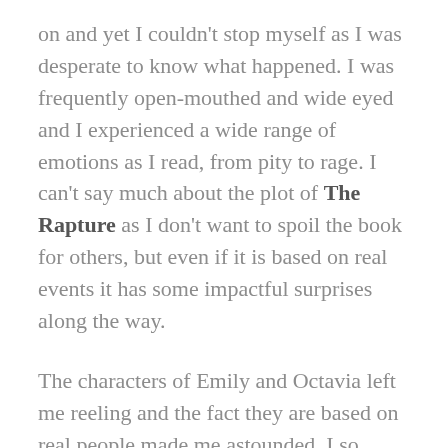on and yet I couldn't stop myself as I was desperate to know what happened. I was frequently open-mouthed and wide eyed and I experienced a wide range of emotions as I read, from pity to rage. I can't say much about the plot of The Rapture as I don't want to spoil the book for others, but even if it is based on real events it has some impactful surprises along the way.
The characters of Emily and Octavia left me reeling and the fact they are based on real people made me astounded. I so wanted Dilys to escape the Panacea Society and the reach of Octavia and Emily. I thought her building relationship with Grace (who couldn't be more aptly named) was sensitively and maturely created so that I was entirely on their side throughout. Dilys in particular is fabulous because we get to see inside her mind as well as witness her external behaviours. I found myself speaking to her to try to affect her actions which actually made me quite uncomfortable as I realised what